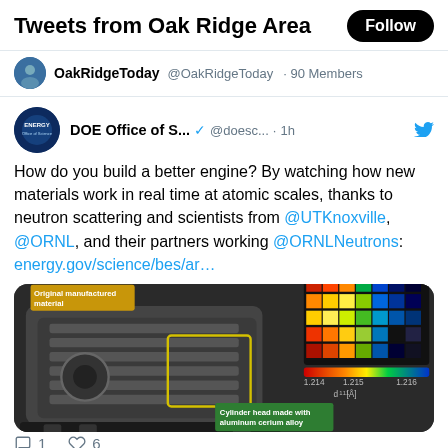Tweets from Oak Ridge Area
OakRidgeToday @OakRidgeToday · 90 Members
DOE Office of S... @doesc... · 1h
How do you build a better engine? By watching how new materials work in real time at atomic scales, thanks to neutron scattering and scientists from @UTKnoxville, @ORNL, and their partners working @ORNLNeutrons: energy.gov/science/bes/ar…
[Figure (photo): Photo of an engine/cylinder head with neutron scattering heatmap overlay showing atomic-scale material analysis. Labels read 'Original manufactured material' and 'Cylinder head made with aluminum cerium alloy'. Color scale shows d_111 [Å] values from 1.214 to 1.216.]
Reply 1   Heart 6